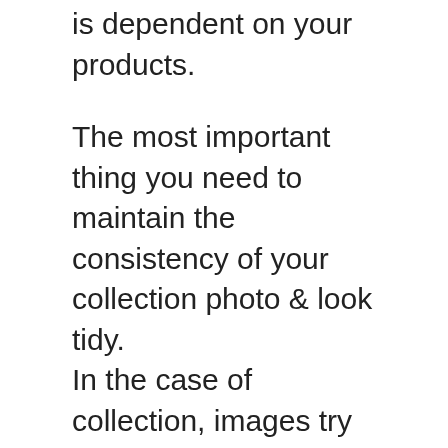is dependent on your products.
The most important thing you need to maintain the consistency of your collection photo & look tidy.
In the case of collection, images try to ensure that the dimensions are the same as the height & width ratio.
Shopify Product Image Sizes
Product image is the key factor to increase your sales. You need to use a professional photo that can achieve with the white background product